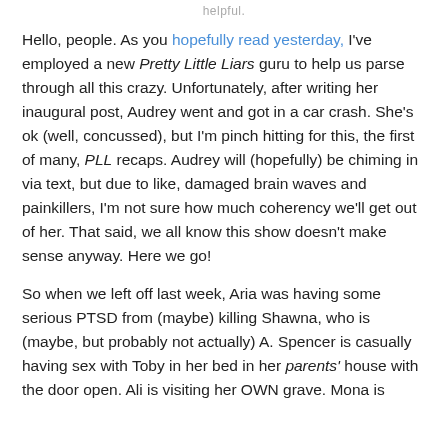helpful.
Hello, people. As you hopefully read yesterday, I've employed a new Pretty Little Liars guru to help us parse through all this crazy. Unfortunately, after writing her inaugural post, Audrey went and got in a car crash. She's ok (well, concussed), but I'm pinch hitting for this, the first of many, PLL recaps. Audrey will (hopefully) be chiming in via text, but due to like, damaged brain waves and painkillers, I'm not sure how much coherency we'll get out of her. That said, we all know this show doesn't make sense anyway. Here we go!
So when we left off last week, Aria was having some serious PTSD from (maybe) killing Shawna, who is (maybe, but probably not actually) A. Spencer is casually having sex with Toby in her bed in her parents' house with the door open. Ali is visiting her OWN grave. Mona is